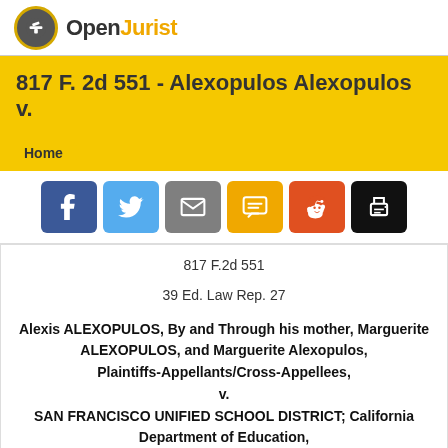OpenJurist
817 F. 2d 551 - Alexopulos Alexopulos v.
Home
[Figure (other): Social sharing buttons: Facebook, Twitter, Email, SMS, Reddit, Print]
817 F.2d 551
39 Ed. Law Rep. 27
Alexis ALEXOPULOS, By and Through his mother, Marguerite ALEXOPULOS, and Marguerite Alexopulos, Plaintiffs-Appellants/Cross-Appellees, v. SAN FRANCISCO UNIFIED SCHOOL DISTRICT; California Department of Education, Defendants-Appellees/Cross-Appellants.